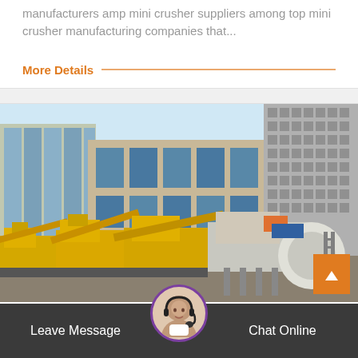manufacturers amp mini crusher suppliers among top mini crusher manufacturing companies that...
More Details
[Figure (photo): Industrial yellow mini crusher machines parked in front of modern office buildings with glass facades]
Leave Message
Chat Online